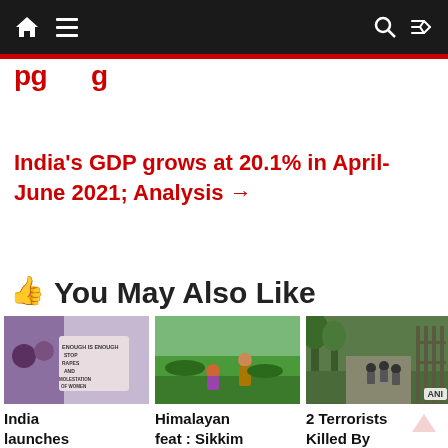Navigation bar with home, menu, search, and shuffle icons
India's GDP grows at 20.1% in April-June 2021; Analysis →
👍 You May Also Like
[Figure (photo): Protest photo with banner reading ENOUGH IS ENOUGH STOP RAPES AND MOLESTATION OF WOMEN]
India launches first Sex Offend...
[Figure (photo): Himalayan agricultural field scene with people working among crops]
Himalayan feat : Sikkim to get UN-backed award for...
[Figure (photo): Security forces in a street scene, ANI badge in corner, J&K related]
2 Terrorists Killed By Security Forces in J&K...